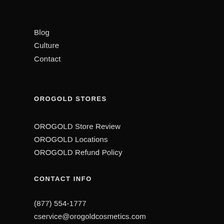Blog
Culture
Contact
OROGOLD STORES
OROGOLD Store Review
OROGOLD Locations
OROGOLD Refund Policy
CONTACT INFO
(877) 554-1777
cservice@orogoldcosmetics.com
9:00am – 3:00pm PST Monday-Friday